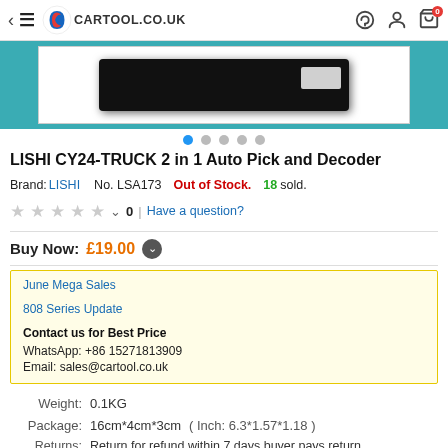cartool.co.uk
[Figure (photo): Product image of LISHI CY24-TRUCK 2 in 1 Auto Pick and Decoder device shown as black rectangular tool on white background with teal border]
LISHI CY24-TRUCK 2 in 1 Auto Pick and Decoder
Brand: LISHI   No. LSA173   Out of Stock.   18 sold.
0  |  Have a question?
Buy Now: £19.00
June Mega Sales
808 Series Update
Contact us for Best Price
WhatsApp: +86 15271813909
Email: sales@cartool.co.uk
Weight:   0.1KG
Package:   16cm*4cm*3cm   ( Inch: 6.3*1.57*1.18 )
Returns:   Return for refund within 7 days buyer pays return